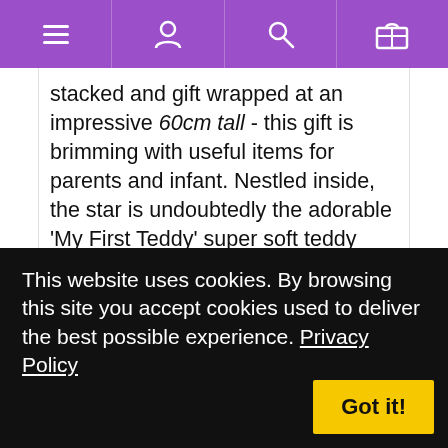[navigation bar with menu, user, search, and basket icons]
stacked and gift wrapped at an impressive 60cm tall - this gift is brimming with useful items for parents and infant. Nestled inside, the star is undoubtedly the adorable ‘My First Teddy’ super soft teddy bear, which can be cherished for years to come. The bodysuit, newborn socks, infants hat, and bandana bib are all made with 100% cotton in pure white, and the award winning organic shampoo and body wash will make bathtime a breeze - accompanied by an organic sea sponge, a soft brush and comb set, water wipes and two cotton muslin squares. Afterwards, wrap them snugly in the hooded towel or the large extra soft swaddle, made from 100% viscose bamboo. And when
This website uses cookies. By browsing this site you accept cookies used to deliver the best possible experience. Privacy Policy
Got it!